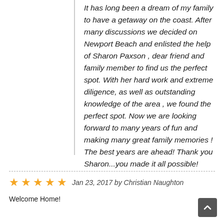It has long been a dream of my family to have a getaway on the coast. After many discussions we decided on Newport Beach and enlisted the help of Sharon Paxson , dear friend and family member to find us the perfect spot. With her hard work and extreme diligence, as well as outstanding knowledge of the area , we found the perfect spot. Now we are looking forward to many years of fun and making many great family memories ! The best years are ahead! Thank you Sharon...you made it all possible!
Jan 23, 2017 by Christian Naughton
Welcome Home!